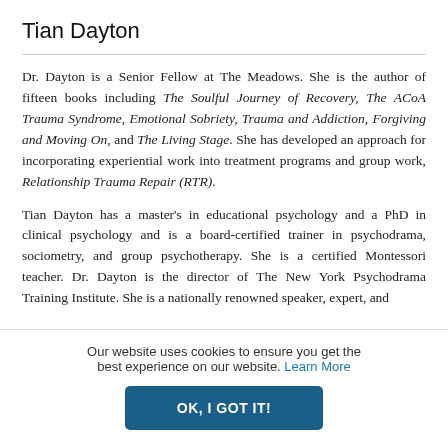Tian Dayton
Dr. Dayton is a Senior Fellow at The Meadows. She is the author of fifteen books including The Soulful Journey of Recovery, The ACoA Trauma Syndrome, Emotional Sobriety, Trauma and Addiction, Forgiving and Moving On, and The Living Stage. She has developed an approach for incorporating experiential work into treatment programs and group work, Relationship Trauma Repair (RTR).
Tian Dayton has a master's in educational psychology and a PhD in clinical psychology and is a board-certified trainer in psychodrama, sociometry, and group psychotherapy. She is a certified Montessori teacher. Dr. Dayton is the director of The New York Psychodrama Training Institute. She is a nationally renowned speaker, expert, and
Our website uses cookies to ensure you get the best experience on our website. Learn More
OK, I GOT IT!